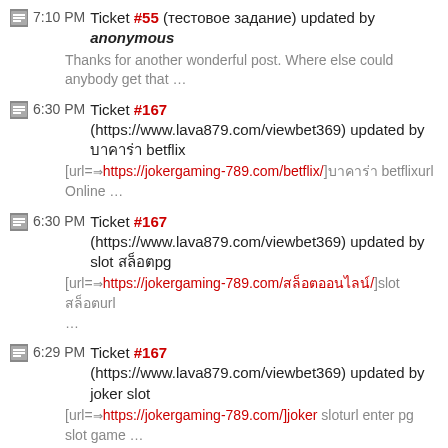7:10 PM Ticket #55 (тестовое задание) updated by anonymous
Thanks for another wonderful post. Where else could anybody get that …
6:30 PM Ticket #167 (https://www.lava879.com/viewbet369) updated by บาคาร่า betflix
[url==>https://jokergaming-789.com/betflix/]บาคาร่า betflixurl Online …
6:30 PM Ticket #167 (https://www.lava879.com/viewbet369) updated by slot สล็อตpg
[url==>https://jokergaming-789.com/สล็อตออนไลน์/]slot สล็อตurl …
6:29 PM Ticket #167 (https://www.lava879.com/viewbet369) updated by joker slot
[url==>https://jokergaming-789.com/]joker sloturl enter pg slot game …
Ticket #175 (Di…) …